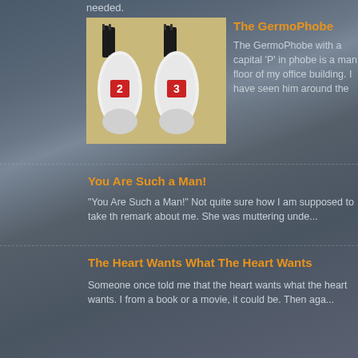needed.
The GermoPhobe
The GermoPhobe with a capital 'P' in phobe is a man floor of my office building. I have seen him around the
You Are Such a Man!
"You Are Such a Man!" Not quite sure how I am supposed to take th remark about me. She was muttering unde...
The Heart Wants What The Heart Wants
Someone once told me that the heart wants what the heart wants. I from a book or a movie, it could be. Then aga...